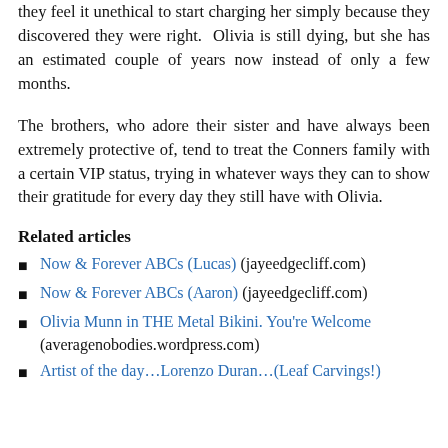they feel it unethical to start charging her simply because they discovered they were right. Olivia is still dying, but she has an estimated couple of years now instead of only a few months.
The brothers, who adore their sister and have always been extremely protective of, tend to treat the Conners family with a certain VIP status, trying in whatever ways they can to show their gratitude for every day they still have with Olivia.
Related articles
Now & Forever ABCs (Lucas) (jayeedgecliff.com)
Now & Forever ABCs (Aaron) (jayeedgecliff.com)
Olivia Munn in THE Metal Bikini. You're Welcome (averagenobodies.wordpress.com)
Artist of the day…Lorenzo Duran…(Leaf Carvings!)